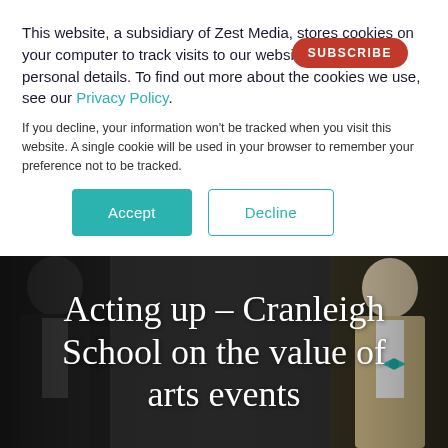This website, a subsidiary of Zest Media, stores cookies on your computer to track visits to our website. We store no personal details. To find out more about the cookies we use, see our Privacy Policy.
If you decline, your information won't be tracked when you visit this website. A single cookie will be used in your browser to remember your preference not to be tracked.
[Figure (screenshot): Cookie consent panel with Accept and Decline buttons, and a red SUBSCRIBE button in the top right]
Acting up – Cranleigh School on the value of arts events
[Figure (photo): Two people in formal attire (tuxedo and tan suit with teal bow tie) against a dark background, serving as hero image backdrop for article title]